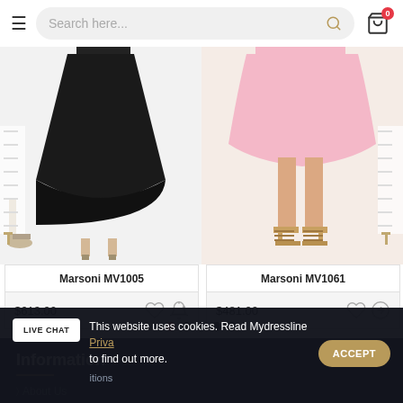Search here...
[Figure (photo): Two fashion product photos: left shows a black full-length dress (Marsoni MV1005), right shows a nude/pink dress with strappy heeled sandals (Marsoni MV1061)]
Marsoni MV1005
$613.00
Marsoni MV1061
$481.00
Information
> About Us
> Information
> Returns Policy
This website uses cookies. Read Mydressline Privacy Policy to find out more.
ACCEPT